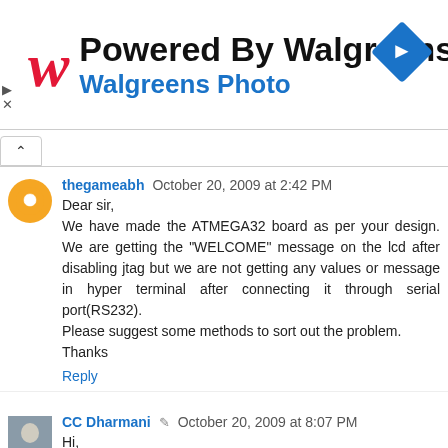[Figure (logo): Walgreens advertisement banner with red W logo, 'Powered By Walgreens' title, 'Walgreens Photo' subtitle in blue, and blue diamond direction sign icon on right]
thegameabh   October 20, 2009 at 2:42 PM
Dear sir,
We have made the ATMEGA32 board as per your design. We are getting the "WELCOME" message on the lcd after disabling jtag but we are not getting any values or message in hyper terminal after connecting it through serial port(RS232).
Please suggest some methods to sort out the problem.
Thanks
Reply
CC Dharmani   October 20, 2009 at 8:07 PM
Hi,
for the RS232 communication, First of all, check that the